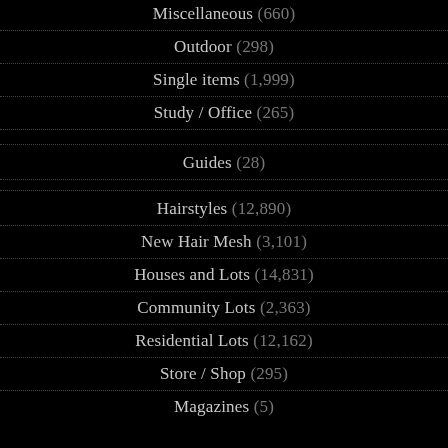Miscellaneous (660)
Outdoor (298)
Single items (1,999)
Study / Office (265)
Guides (28)
Hairstyles (12,890)
New Hair Mesh (3,101)
Houses and Lots (14,831)
Community Lots (2,363)
Residential Lots (12,162)
Store / Shop (295)
Magazines (5)